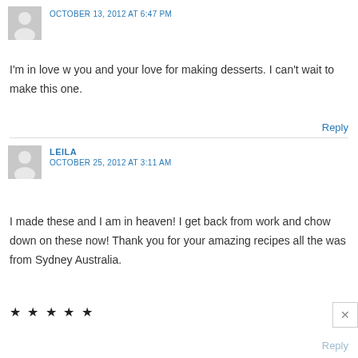OCTOBER 13, 2012 AT 6:47 PM
I'm in love w you and your love for making desserts. I can't wait to make this one.
Reply
LEILA
OCTOBER 25, 2012 AT 3:11 AM
I made these and I am in heaven! I get back from work and chow down on these now! Thank you for your amazing recipes all the was from Sydney Australia.
★ ★ ★ ★ ★
Reply